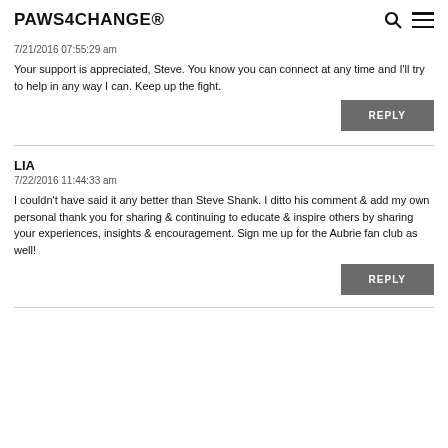PAWS4CHANGE®
7/21/2016 07:55:29 am
Your support is appreciated, Steve. You know you can connect at any time and I'll try to help in any way I can. Keep up the fight.
REPLY
LIA
7/22/2016 11:44:33 am
I couldn't have said it any better than Steve Shank. I ditto his comment & add my own personal thank you for sharing & continuing to educate & inspire others by sharing your experiences, insights & encouragement. Sign me up for the Aubrie fan club as well!
REPLY